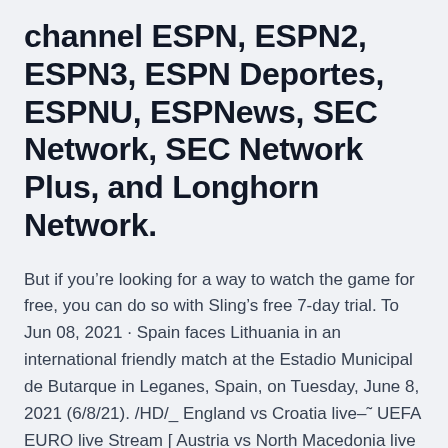channel ESPN, ESPN2, ESPN3, ESPN Deportes, ESPNU, ESPNews, SEC Network, SEC Network Plus, and Longhorn Network.
But if you're looking for a way to watch the game for free, you can do so with Sling's free 7-day trial. To Jun 08, 2021 · Spain faces Lithuania in an international friendly match at the Estadio Municipal de Butarque in Leganes, Spain, on Tuesday, June 8, 2021 (6/8/21). /HD/_ England vs Croatia live–˜ UEFA EURO live Stream [ Austria vs North Macedonia live ] Netherlands vs Ukraine live ♦♦ Scotland vs Czech Republic live { Poland vs Slovakia live } Spain vs Sweden live _!~ Hungary vs Portugal live " France vs Germany live _** Soccer Live stream Free · Oct 08, 2020 · Slovakia v